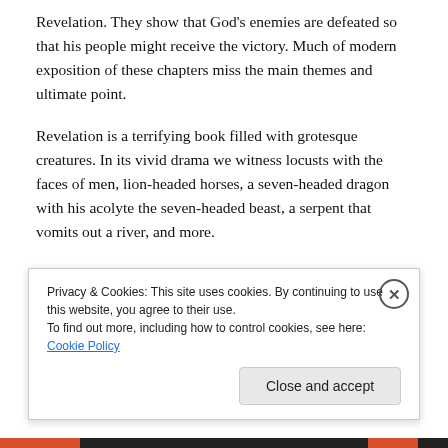Revelation. They show that God's enemies are defeated so that his people might receive the victory. Much of modern exposition of these chapters miss the main themes and ultimate point.
Revelation is a terrifying book filled with grotesque creatures. In its vivid drama we witness locusts with the faces of men, lion-headed horses, a seven-headed dragon with his acolyte the seven-headed beast, a serpent that vomits out a river, and more.
As its narrative unfolds we hear rolling thunder, crashing
Privacy & Cookies: This site uses cookies. By continuing to use this website, you agree to their use.
To find out more, including how to control cookies, see here: Cookie Policy
Close and accept